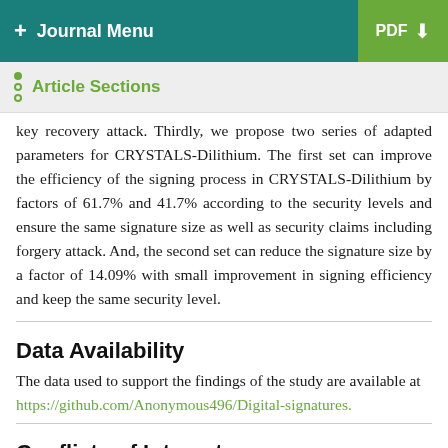+ Journal Menu | PDF ↓
Article Sections
key recovery attack. Thirdly, we propose two series of adapted parameters for CRYSTALS-Dilithium. The first set can improve the efficiency of the signing process in CRYSTALS-Dilithium by factors of 61.7% and 41.7% according to the security levels and ensure the same signature size as well as security claims including forgery attack. And, the second set can reduce the signature size by a factor of 14.09% with small improvement in signing efficiency and keep the same security level.
Data Availability
The data used to support the findings of the study are available at https://github.com/Anonymous496/Digital-signatures.
Conflicts of Interest
The authors declare that there are no conflicts of interest.